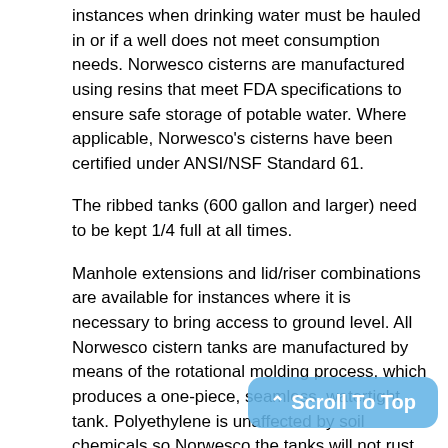instances when drinking water must be hauled in or if a well does not meet consumption needs. Norwesco cisterns are manufactured using resins that meet FDA specifications to ensure safe storage of potable water. Where applicable, Norwesco's cisterns have been certified under ANSI/NSF Standard 61.
The ribbed tanks (600 gallon and larger) need to be kept 1/4 full at all times.
Manhole extensions and lid/riser combinations are available for instances where it is necessary to bring access to ground level. All Norwesco cistern tanks are manufactured by means of the rotational molding process, which produces a one-piece, seamless, watertight tank. Polyethylene is unaffected by soil chemicals so Norwesco the tanks will not rust or corrode and require no additional coatings as other tanks do. Norwesco's strict quality guidelines ensure an environmentally safe cistern tank.